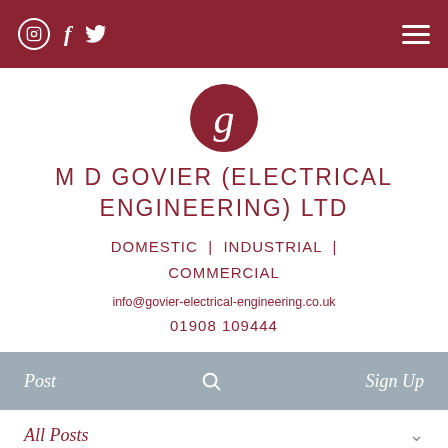Social icons (Instagram, Facebook, Twitter) and hamburger menu
[Figure (logo): Circular dark red logo with italic lowercase 'g' in white]
M D GOVIER (ELECTRICAL ENGINEERING) LTD
DOMESTIC | INDUSTRIAL | COMMERCIAL
info@govier-electrical-engineering.co.uk
01908 109444
Post  Search  Sign Up
All Posts